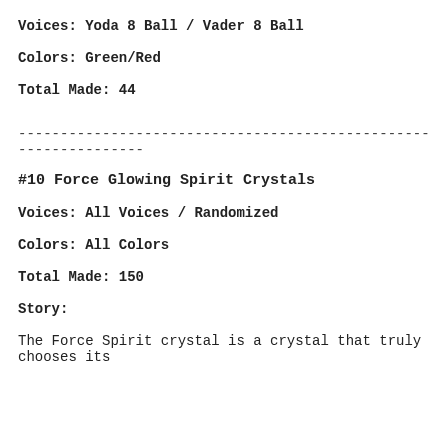Voices: Yoda 8 Ball / Vader 8 Ball
Colors: Green/Red
Total Made: 44
----------------------------------------------------------------
#10 Force Glowing Spirit Crystals
Voices: All Voices / Randomized
Colors: All Colors
Total Made: 150
Story:
The Force Spirit crystal is a crystal that truly chooses its